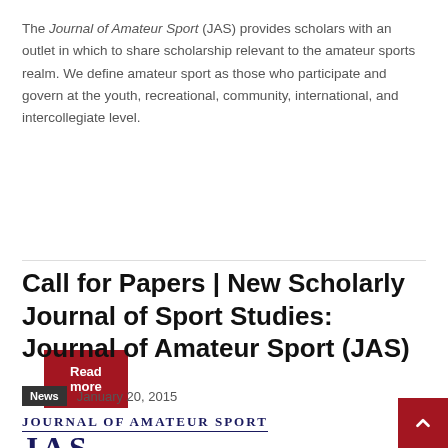The Journal of Amateur Sport (JAS) provides scholars with an outlet in which to share scholarship relevant to the amateur sports realm. We define amateur sport as those who participate and govern at the youth, recreational, community, international, and intercollegiate level.
Read more
Call for Papers | New Scholarly Journal of Sport Studies: Journal of Amateur Sport (JAS)
News   January 20, 2015
[Figure (logo): Journal of Amateur Sport logo showing text 'JOURNAL OF AMATEUR SPORT' with large letters 'JAS' below in navy blue]